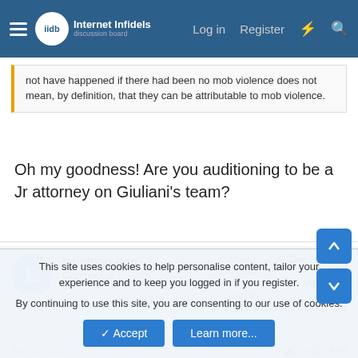Internet Infidels | Log in | Register
not have happened if there had been no mob violence does not mean, by definition, that they can be attributable to mob violence.
Oh my goodness! Are you auditioning to be a Jr attorney on Giuliani's team?
laughing dog
Contributor
Joined: Dec 29, 2004
Messages: 21,375
Location: Minnesota
Gender: IT
Basic Beliefs: Dogs rule
Jan 10, 2021  #49
Angra Mainyu said:
This site uses cookies to help personalise content, tailor your experience and to keep you logged in if you register.
By continuing to use this site, you are consenting to our use of cookies.